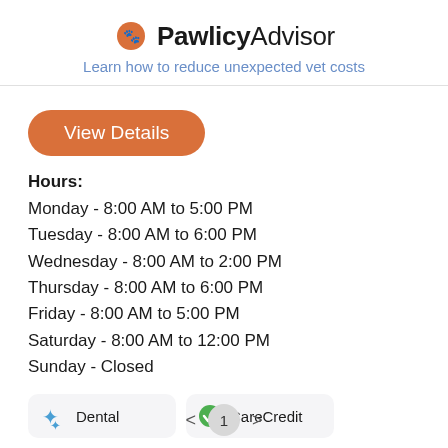PawlicyAdvisor — Learn how to reduce unexpected vet costs
View Details
Hours:
Monday - 8:00 AM to 5:00 PM
Tuesday - 8:00 AM to 6:00 PM
Wednesday - 8:00 AM to 2:00 PM
Thursday - 8:00 AM to 6:00 PM
Friday - 8:00 AM to 5:00 PM
Saturday - 8:00 AM to 12:00 PM
Sunday - Closed
Dental   CareCredit
< 1 >